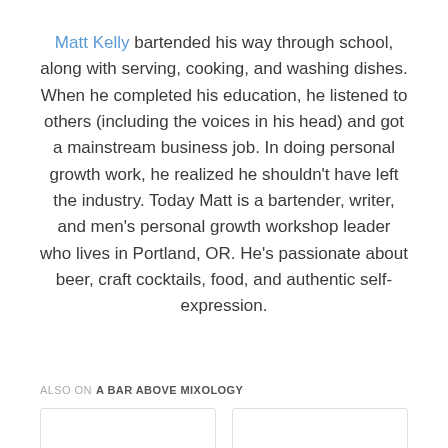Matt Kelly bartended his way through school, along with serving, cooking, and washing dishes. When he completed his education, he listened to others (including the voices in his head) and got a mainstream business job. In doing personal growth work, he realized he shouldn't have left the industry. Today Matt is a bartender, writer, and men's personal growth workshop leader who lives in Portland, OR. He's passionate about beer, craft cocktails, food, and authentic self-expression.
ALSO ON A BAR ABOVE MIXOLOGY